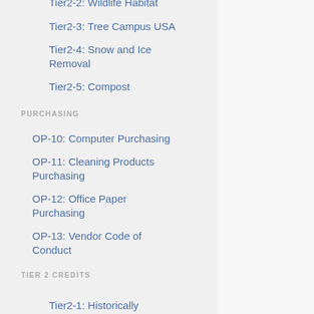Tier2-2: Wildlife Habitat
Tier2-3: Tree Campus USA
Tier2-4: Snow and Ice Removal
Tier2-5: Compost
PURCHASING
OP-10: Computer Purchasing
OP-11: Cleaning Products Purchasing
OP-12: Office Paper Purchasing
OP-13: Vendor Code of Conduct
TIER 2 CREDITS
Tier2-1: Historically